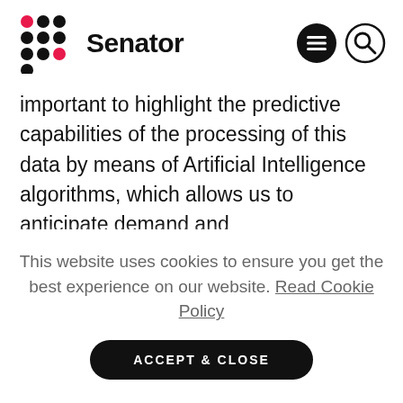[Figure (logo): Senator brand logo with dot-matrix pattern icon and bold 'Senator' wordmark, plus menu and search icons on the right]
important to highlight the predictive capabilities of the processing of this data by means of Artificial Intelligence algorithms, which allows us to anticipate demand and
This website uses cookies to ensure you get the best experience on our website. Read Cookie Policy
ACCEPT & CLOSE